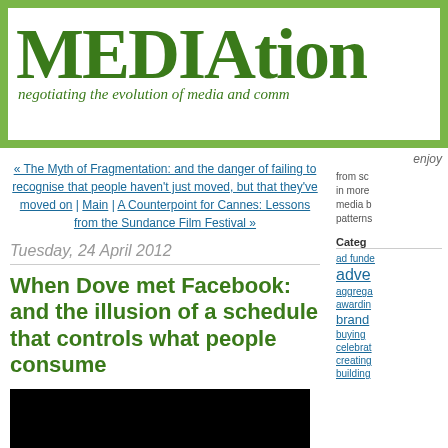MEDIAtion - negotiating the evolution of media and comm
« The Myth of Fragmentation: and the danger of failing to recognise that people haven't just moved, but that they've moved on | Main | A Counterpoint for Cannes: Lessons from the Sundance Film Festival »
Tuesday, 24 April 2012
When Dove met Facebook: and the illusion of a schedule that controls what people consume
[Figure (other): Black video embed placeholder]
enjoy
from sc... in more... media b... patterns...
Categ
ad funde...
adve...
aggrega...
awardin...
brand...
buying
celebrat...
creating
building...